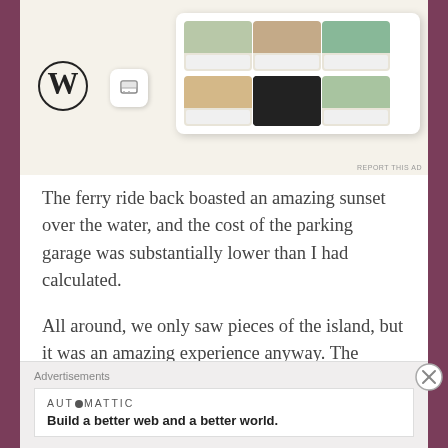[Figure (screenshot): WordPress/Automattic advertisement banner with WordPress logo on left and food menu app cards on right, on a cream/beige background. 'REPORT THIS AD' text in bottom right.]
The ferry ride back boasted an amazing sunset over the water, and the cost of the parking garage was substantially lower than I had calculated.
All around, we only saw pieces of the island, but it was an amazing experience anyway. The island was beautiful, the atmosphere unique to which I had only experienced the likes of in Hawaii, and the vibes magical. My only regret on completion of the day was having to step off the ferry and return home.
Advertisements
AUTOMATTIC
Build a better web and a better world.